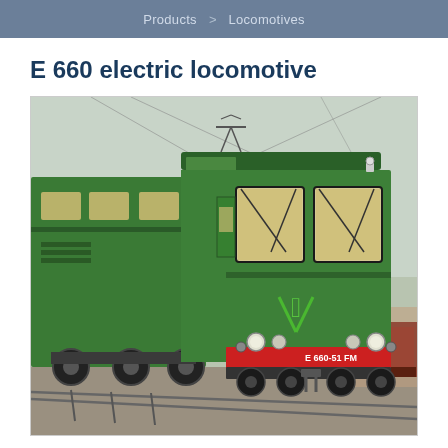Products > Locomotives
E 660 electric locomotive
[Figure (photo): Front and side view of a green E 660 electric locomotive (E 660-51 FM) with red bumper, large front windows, windshield wipers, overhead catenary wires, and green FS logo on the front panel, photographed at a rail yard.]